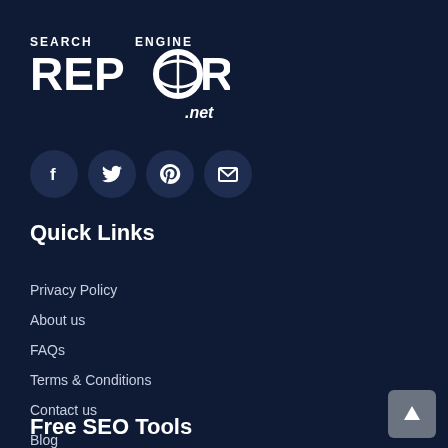[Figure (logo): Search Engine Reports .net logo with white text on dark navy background, circle graphic replacing the 'O' in REPORTS]
[Figure (infographic): Four circular social media icon buttons: Facebook (f), Twitter (bird), Pinterest (P), Email (envelope) — dark navy circles on dark background]
Quick Links
Privacy Policy
About us
FAQs
Terms & Conditions
Contact us
Blog
Free SEO Tools